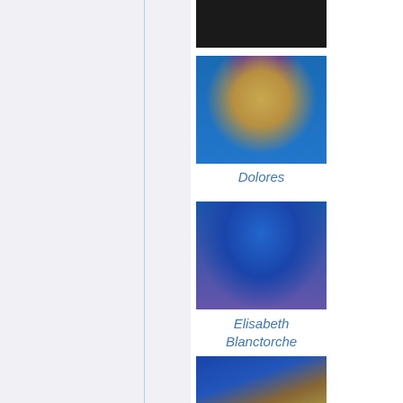[Figure (illustration): Clark Still character portrait - partially visible at top, dark hair/beard]
Clark Still
[Figure (illustration): Dolores character portrait - dark skin, braided blonde hair with purple flowers, gold accessories, blue background]
Dolores
[Figure (illustration): Elisabeth Blanctorche character portrait - blue hair, purple jacket, blue/purple background]
Elisabeth Blanctorche
[Figure (illustration): Character portrait partially cut off at bottom - dark hair, yellow/gold outfit, blue background]